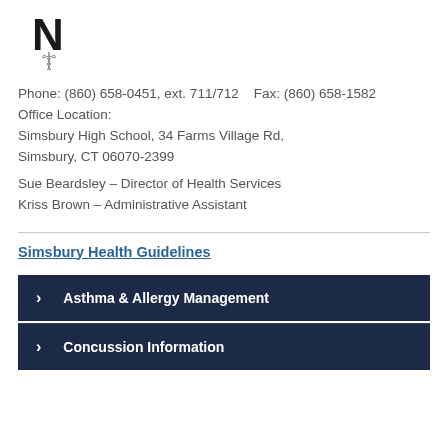[Figure (logo): Simsbury school logo with large letter N and a medical/caduceus style emblem below]
Phone: (860) 658-0451, ext. 711/712    Fax: (860) 658-1582
Office Location:
Simsbury High School, 34 Farms Village Rd, Simsbury, CT 06070-2399
Sue Beardsley – Director of Health Services
Kriss Brown – Administrative Assistant
Simsbury Health Guidelines
Asthma & Allergy Management
Concussion Information